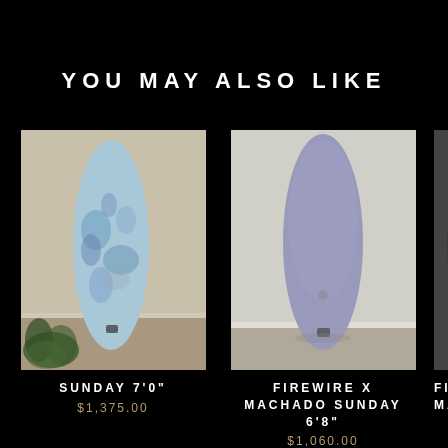YOU MAY ALSO LIKE
[Figure (photo): Blue patterned surfboard leaning against a light-colored wall with a plant visible at base]
SUNDAY 7'0"
$1,375.00
[Figure (photo): Grey/lavender solid color surfboard leaning against a white wall]
FIREWIRE X MACHADO SUNDAY 6'8"
$1,060.00
[Figure (photo): Partial view of a dark surfboard, partially cut off at right edge]
FI MACH